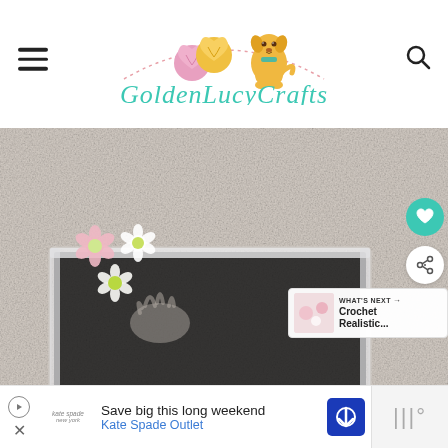[Figure (logo): GoldenLucyCrafts blog logo with illustrated yarn hearts and a cartoon golden dog puppy, script text reading 'GoldenLucyCrafts' in teal, decorative dotted arc line]
[Figure (photo): Close-up photo of a clear glass/acrylic picture frame decorated with pink and white crocheted flowers with green centers, set against a light textured wall background. A 'WHAT'S NEXT' overlay badge shows 'Crochet Realistic...' with thumbnail. Heart save button and share button visible on right side.]
WHAT'S NEXT → Crochet Realistic...
Save big this long weekend Kate Spade Outlet